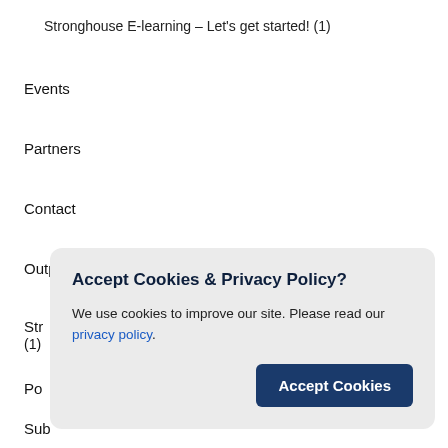Stronghouse E-learning – Let's get started! (1)
Events
Partners
Contact
Output library
Str… (1)
Po…
Sub…
Str…
Accept Cookies & Privacy Policy?
We use cookies to improve our site. Please read our privacy policy.
Accept Cookies